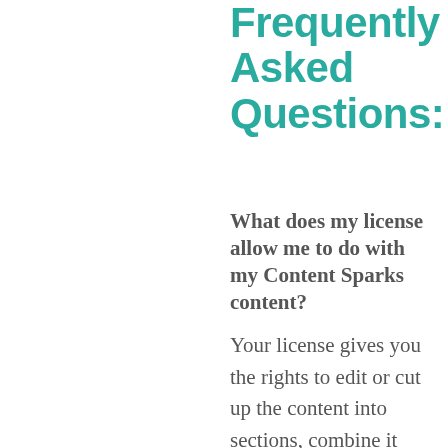Frequently Asked Questions:
What does my license allow me to do with my Content Sparks content?
Your license gives you the rights to edit or cut up the content into sections, combine it with other content, or transform it to other media formats (such as audio, video,